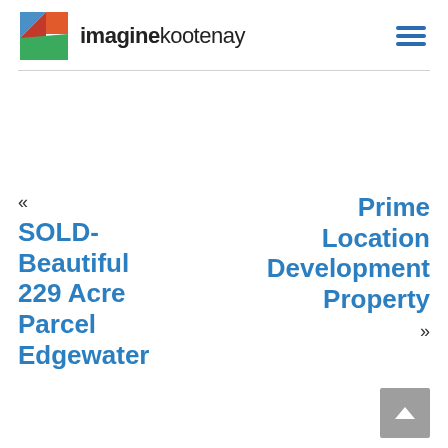imaginekootenay
« SOLD- Beautiful 229 Acre Parcel Edgewater
Prime Location Development Property »